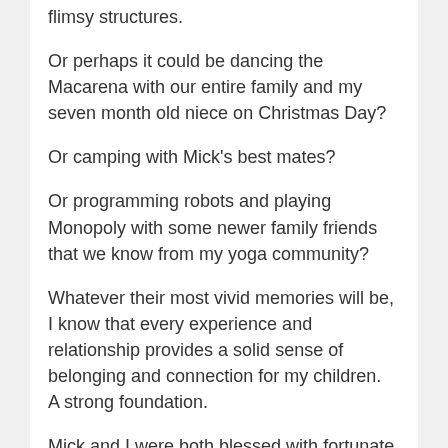flimsy structures.
Or perhaps it could be dancing the Macarena with our entire family and my seven month old niece on Christmas Day?
Or camping with Mick's best mates?
Or programming robots and playing Monopoly with some newer family friends that we know from my yoga community?
Whatever their most vivid memories will be, I know that every experience and relationship provides a solid sense of belonging and connection for my children.  A strong foundation.
Mick and I were both blessed with fortunate childhoods full of rich experiences and love.  I know that he would be pleased that our children